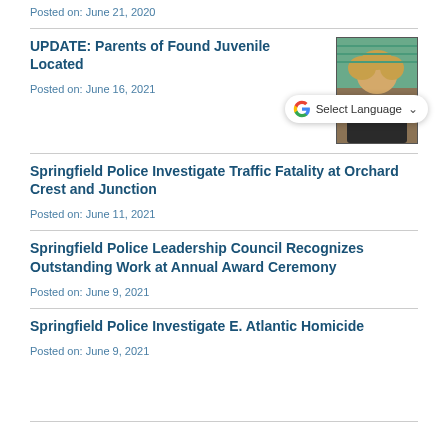Posted on: June 21, 2020
UPDATE: Parents of Found Juvenile Located
Posted on: June 16, 2021
[Figure (photo): Photo of a young child with curly blonde hair, partially obscured by a Google Translate Select Language widget overlay]
Springfield Police Investigate Traffic Fatality at Orchard Crest and Junction
Posted on: June 11, 2021
Springfield Police Leadership Council Recognizes Outstanding Work at Annual Award Ceremony
Posted on: June 9, 2021
Springfield Police Investigate E. Atlantic Homicide
Posted on: June 9, 2021